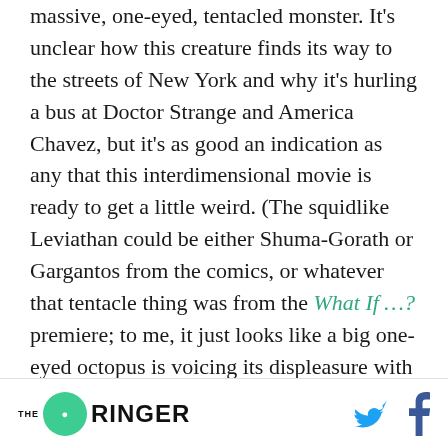massive, one-eyed, tentacled monster. It's unclear how this creature finds its way to the streets of New York and why it's hurling a bus at Doctor Strange and America Chavez, but it's as good an indication as any that this interdimensional movie is ready to get a little weird. (The squidlike Leviathan could be either Shuma-Gorath or Gargantos from the comics, or whatever that tentacle thing was from the What If …? premiere; to me, it just looks like a big one-eyed octopus is voicing its displeasure with New York's public transportation system.) But in the final moments
THE RINGER